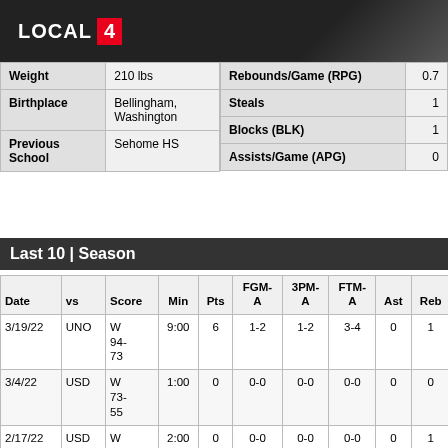LOCAL 4
|  |  |
| --- | --- |
| Weight | 210 lbs |
| Birthplace | Bellingham, Washington |
| Previous School | Sehome HS |
|  |  |
| --- | --- |
| Rebounds/Game (RPG) | 0.7 |
| Steals | 1 |
| Blocks (BLK) | 1 |
| Assists/Game (APG) | 0 |
Last 10 | Season
| Date | vs | Score | Min | Pts | FGM-A | 3PM-A | FTM-A | Ast | Reb | Blk | T/S |
| --- | --- | --- | --- | --- | --- | --- | --- | --- | --- | --- | --- |
| 3/19/22 | UNO | W 94-73 | 9:00 | 6 | 1-2 | 1-2 | 3-4 | 0 | 1 | 1 | 1/0 |
| 3/4/22 | USD | W 73-55 | 1:00 | 0 | 0-0 | 0-0 | 0-0 | 0 | 0 | 0 | 0/0 |
| 2/17/22 | USD | W | 2:00 | 0 | 0-0 | 0-0 | 0-0 | 0 | 1 | 0 | 0/0 |